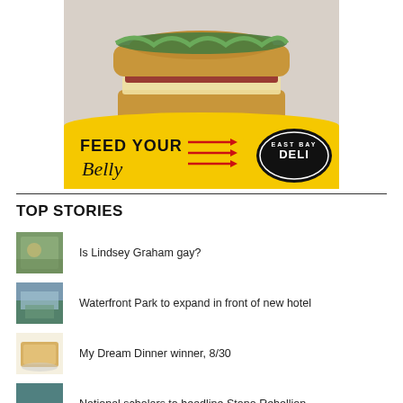[Figure (photo): Advertisement for East Bay Deli. Top portion shows a large sandwich on a plate against a light background. Bottom portion is yellow with black bold text 'FEED YOUR' and script text 'Belly', three red arrows pointing right, and an oval black logo reading 'EAST BAY DELI'.]
TOP STORIES
Is Lindsey Graham gay?
Waterfront Park to expand in front of new hotel
My Dream Dinner winner, 8/30
National scholars to headline Stono Rebellion